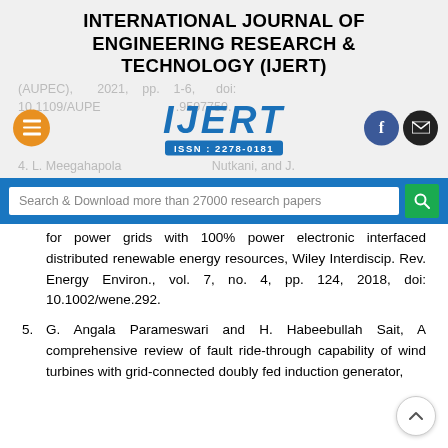INTERNATIONAL JOURNAL OF ENGINEERING RESEARCH & TECHNOLOGY (IJERT)
[Figure (logo): IJERT logo with ISSN: 2278-0181, hamburger menu icon (orange), Facebook icon (blue), email icon (dark)]
(AUPEC), 2021, pp. 1-6, doi: 10.1109/AUPEC52110.2021.9597750.
4. L. Meegahapola, ... Nutkani, and J.
Search & Download more than 27000 research papers
for power grids with 100% power electronic interfaced distributed renewable energy resources, Wiley Interdiscip. Rev. Energy Environ., vol. 7, no. 4, pp. 124, 2018, doi: 10.1002/wene.292.
5. G. Angala Parameswari and H. Habeebullah Sait, A comprehensive review of fault ride-through capability of wind turbines with grid-connected doubly fed induction generator,